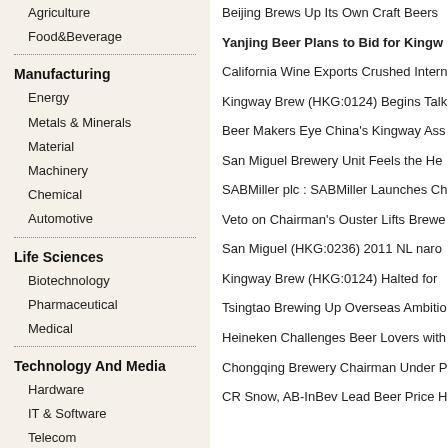Agriculture
Food&Beverage
Manufacturing
Energy
Metals & Minerals
Material
Machinery
Chemical
Automotive
Life Sciences
Biotechnology
Pharmaceutical
Medical
Technology And Media
Hardware
IT & Software
Telecom
Internet
Beijing Brews Up Its Own Craft Beers
Yanjing Beer Plans to Bid for Kingw
California Wine Exports Crushed Intern
Kingway Brew (HKG:0124) Begins Talk
Beer Makers Eye China's Kingway Ass
San Miguel Brewery Unit Feels the He
SABMiller plc : SABMiller Launches Ch
Veto on Chairman's Ouster Lifts Brewe
San Miguel (HKG:0236) 2011 NL naro
Kingway Brew (HKG:0124) Halted for
Tsingtao Brewing Up Overseas Ambitio
Heineken Challenges Beer Lovers with
Chongqing Brewery Chairman Under P
CR Snow, AB-InBev Lead Beer Price H